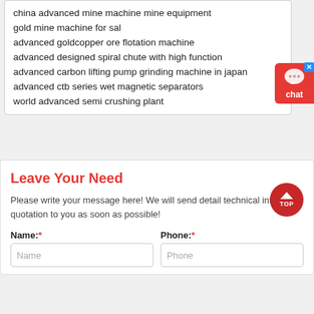china advanced mine machine mine equipment
gold mine machine for sal
advanced goldcopper ore flotation machine
advanced designed spiral chute with high function
advanced carbon lifting pump grinding machine in japan
advanced ctb series wet magnetic separators
world advanced semi crushing plant
Leave Your Need
Please write your message here! We will send detail technical info and quotation to you as soon as possible!
Name:* Phone:*